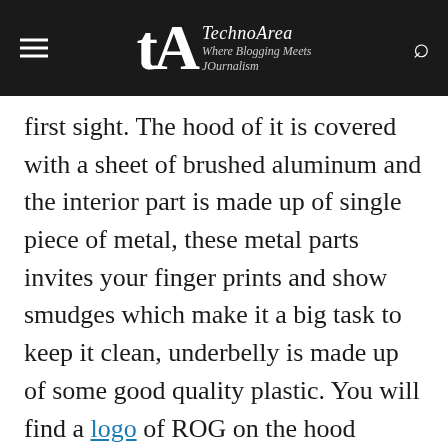TechnoArea – Where Blogging Meets JOurnalism
first sight. The hood of it is covered with a sheet of brushed aluminum and the interior part is made up of single piece of metal, these metal parts invites your finger prints and show smudges which make it a big task to keep it clean, underbelly is made up of some good quality plastic. You will find a logo of ROG on the hood which glows but not very much.